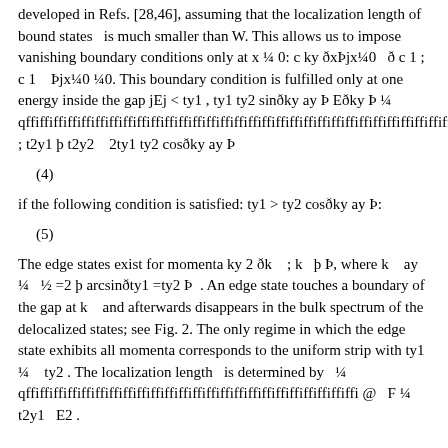developed in Refs. [28,46], assuming that the localization length of bound states is much smaller than W. This allows us to impose vanishing boundary conditions only at x ¼ 0: c ky ðxÞjx¼0  ð c 1 ; c 1   Þjx¼0 ¼0. This boundary condition is fulfilled only at one energy inside the gap jEj < ty1 , ty1 ty2 sinðky ay Þ E ðky Þ ¼ qffiffiffiffiffiffiffiffiffiffiffiffiffiffiffiffiffiffiffiffiffiffiffiffiffiffiffiffiffiffiffiffiffiffiffiffiffiffiffiffiffiffiffiffiffiffiffiffiffiffiffiffiffiffiffiffiffiffiffiffi ; t2y1 þ t2y2  2ty1 ty2 cosðky ay Þ
if the following condition is satisfied: ty1 > ty2 cosðky ay Þ:
The edge states exist for momenta ky 2 ðk   ; k  þ Þ, where k   ay ¼  ½ =2 þ arcsinðty1 =ty2 Þ . An edge state touches a boundary of the gap at k   and afterwards disappears in the bulk spectrum of the delocalized states; see Fig. 2. The only regime in which the edge state exhibits all momenta corresponds to the uniform strip with ty1 ¼ ty2 . The localization length  is determined by  ¼ qffiffiffiffiffiffiffiffiffiffiffiffiffiffiffiffiffiffiffiffiffiffiffiffiffiffi @  F ¼ t2y1  E2 .